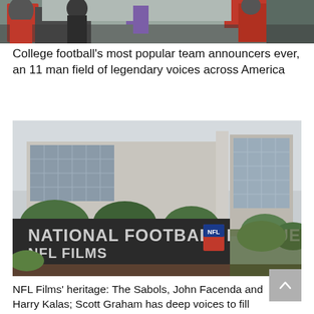[Figure (photo): Top cropped photo showing people in colorful jackets/gear at what appears to be a sports or outdoor event]
College football's most popular team announcers ever, an 11 man field of legendary voices across America
[Figure (photo): Exterior of the National Football League NFL Films building at One Sabol Way, showing a large dark sign with white lettering and a modern office building in the background]
NFL Films' heritage: The Sabols, John Facenda and Harry Kalas; Scott Graham has deep voices to fill